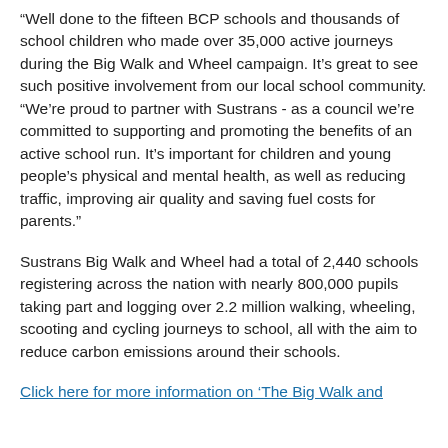“Well done to the fifteen BCP schools and thousands of school children who made over 35,000 active journeys during the Big Walk and Wheel campaign. It’s great to see such positive involvement from our local school community.
“We’re proud to partner with Sustrans - as a council we’re committed to supporting and promoting the benefits of an active school run. It’s important for children and young people’s physical and mental health, as well as reducing traffic, improving air quality and saving fuel costs for parents.”
Sustrans Big Walk and Wheel had a total of 2,440 schools registering across the nation with nearly 800,000 pupils taking part and logging over 2.2 million walking, wheeling, scooting and cycling journeys to school, all with the aim to reduce carbon emissions around their schools.
Click here for more information on 'The Big Walk and